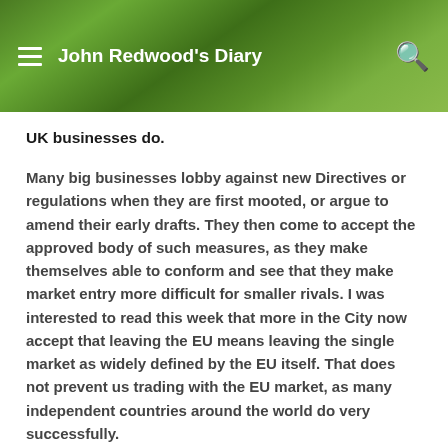John Redwood's Diary
UK businesses do.
Many big businesses lobby against new Directives or regulations when they are first mooted, or argue to amend their early drafts. They then come to accept the approved body of such measures, as they make themselves able to conform and see that they make market entry more difficult for smaller rivals. I was interested to read this week that more in the City now accept that leaving the EU means leaving the single market as widely defined by the EU itself. That does not prevent us trading with the EU market, as many independent countries around the world do very successfully.